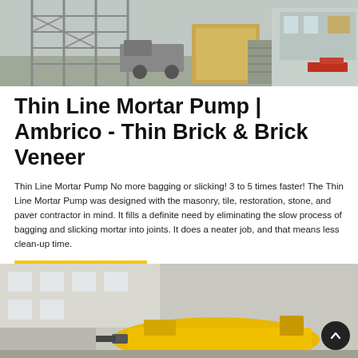[Figure (photo): Industrial building or factory exterior with metal scaffolding/framework structures, vehicles, and warehouse-like buildings in background.]
Thin Line Mortar Pump | Ambrico - Thin Brick & Brick Veneer
Thin Line Mortar Pump No more bagging or slicking! 3 to 5 times faster! The Thin Line Mortar Pump was designed with the masonry, tile, restoration, stone, and paver contractor in mind. It fills a definite need by eliminating the slow process of bagging and slicking mortar into joints. It does a neater job, and that means less clean-up time.
[Figure (photo): Construction site with yellow machinery (mortar pump) and building under construction with scaffolding visible.]